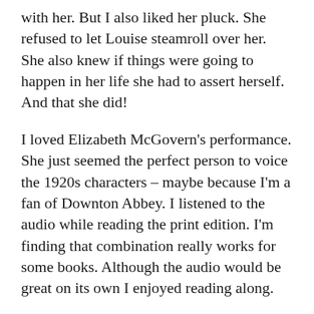with her. But I also liked her pluck. She refused to let Louise steamroll over her. She also knew if things were going to happen in her life she had to assert herself. And that she did!
I loved Elizabeth McGovern's performance. She just seemed the perfect person to voice the 1920s characters – maybe because I'm a fan of Downton Abbey. I listened to the audio while reading the print edition. I'm finding that combination really works for some books. Although the audio would be great on its own I enjoyed reading along.
Source:  I bought the audiobook and the book.
17 Comments